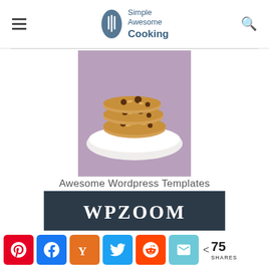Simple Awesome Cooking
[Figure (photo): Stack of chocolate chip oatmeal cookies on a white plate against a purple/lavender background]
Awesome Wordpress Templates
[Figure (logo): WPZOOM logo banner — white bold text on dark navy background]
[Figure (other): Social share bar with Pinterest, Facebook, Yummly, Twitter, Reddit, Email buttons and 75 SHARES count]